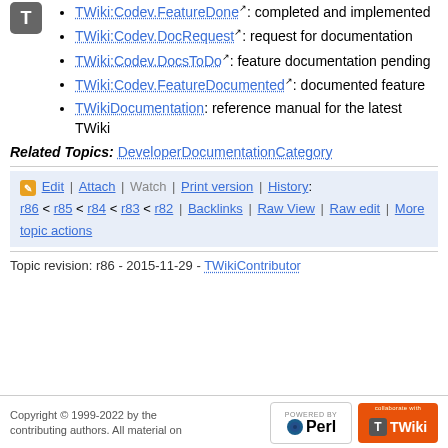TWiki:Codev.FeatureDone: completed and implemented
TWiki:Codev.DocRequest: request for documentation
TWiki:Codev.DocsToDo: feature documentation pending
TWiki:Codev.FeatureDocumented: documented feature
TWikiDocumentation: reference manual for the latest TWiki
Related Topics: DeveloperDocumentationCategory
Edit | Attach | Watch | Print version | History: r86 < r85 < r84 < r83 < r82 | Backlinks | Raw View | Raw edit | More topic actions
Topic revision: r86 - 2015-11-29 - TWikiContributor
Copyright © 1999-2022 by the contributing authors. All material on